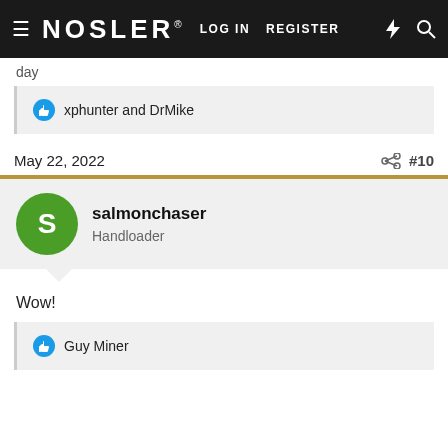NOSLER® LOG IN  REGISTER
day
👍 xphunter and DrMike
May 22, 2022  #10
salmonchaser
Handloader
Wow!
👍 Guy Miner